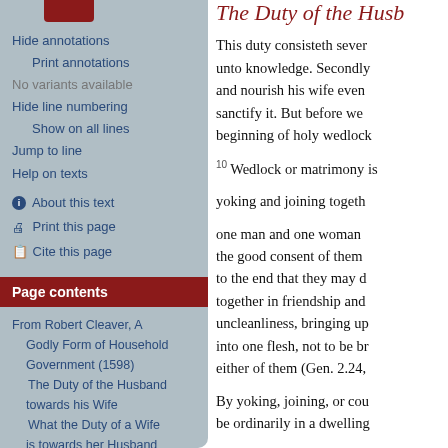Hide annotations
Print annotations
No variants available
Hide line numbering
Show on all lines
Jump to line
Help on texts
About this text
Print this page
Cite this page
Page contents
From Robert Cleaver, A Godly Form of Household Government (1598)
The Duty of the Husband towards his Wife
What the Duty of a Wife is towards her Husband
The Duty of the Husb...
This duty consisteth sever... unto knowledge. Secondly... and nourish his wife even... sanctify it. But before we... beginning of holy wedloc...
Wedlock or matrimony is...
yoking and joining togeth...
one man and one woman... the good consent of them... to the end that they may d... together in friendship and... uncleanliness, bringing up... into one flesh, not to be br... either of them (Gen. 2.24,...
By yoking, joining, or cou... be ordinarily in a dwelling...